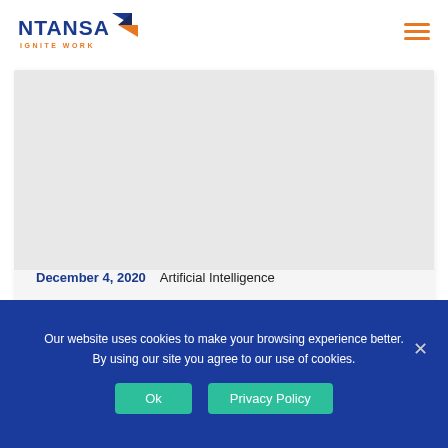NTANSA IGNITE WORK
[Figure (screenshot): White card area with light grey image placeholder]
December 4, 2020   Artificial Intelligence
Our website uses cookies to make your browsing experience better. By using our site you agree to our use of cookies.